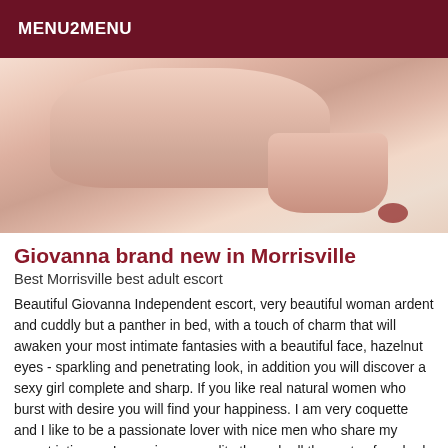MENU2MENU
[Figure (photo): Partial view of a person lying on a white surface, showing legs and lower body]
Giovanna brand new in Morrisville
Best Morrisville best adult escort
Beautiful Giovanna Independent escort, very beautiful woman ardent and cuddly but a panther in bed, with a touch of charm that will awaken your most intimate fantasies with a beautiful face, hazelnut eyes - sparkling and penetrating look, in addition you will discover a sexy girl complete and sharp. If you like real natural women who burst with desire you will find your happiness. I am very coquette and I like to be a passionate lover with nice men who share my secret intimacy. I perspire sensuality through all the ports of my body made for love